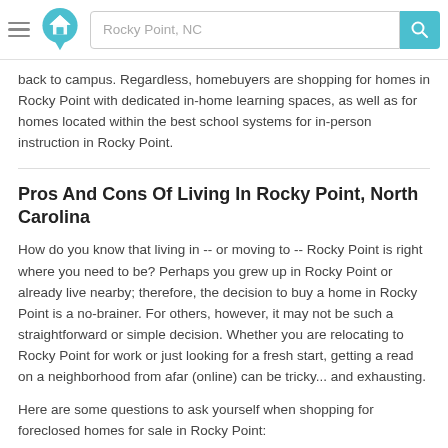Rocky Point, NC
back to campus. Regardless, homebuyers are shopping for homes in Rocky Point with dedicated in-home learning spaces, as well as for homes located within the best school systems for in-person instruction in Rocky Point.
Pros And Cons Of Living In Rocky Point, North Carolina
How do you know that living in -- or moving to -- Rocky Point is right where you need to be? Perhaps you grew up in Rocky Point or already live nearby; therefore, the decision to buy a home in Rocky Point is a no-brainer. For others, however, it may not be such a straightforward or simple decision. Whether you are relocating to Rocky Point for work or just looking for a fresh start, getting a read on a neighborhood from afar (online) can be tricky... and exhausting.
Here are some questions to ask yourself when shopping for foreclosed homes for sale in Rocky Point:
What type of neighborhood environment (suburban,